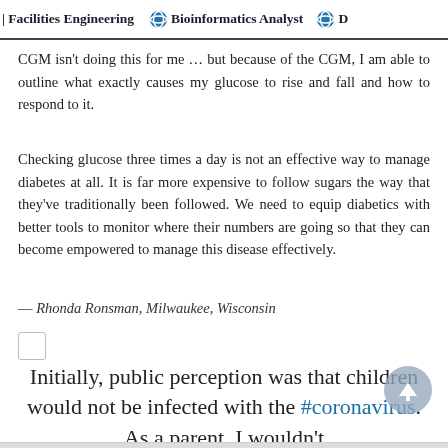| Facilities Engineering   Bioinformatics Analyst   D
CGM isn't doing this for me … but because of the CGM, I am able to outline what exactly causes my glucose to rise and fall and how to respond to it.
Checking glucose three times a day is not an effective way to manage diabetes at all. It is far more expensive to follow sugars the way that they've traditionally been followed. We need to equip diabetics with better tools to monitor where their numbers are going so that they can become empowered to manage this disease effectively.
— Rhonda Ronsman, Milwaukee, Wisconsin
Initially, public perception was that children would not be infected with the #coronavirus. As a parent, I wouldn't